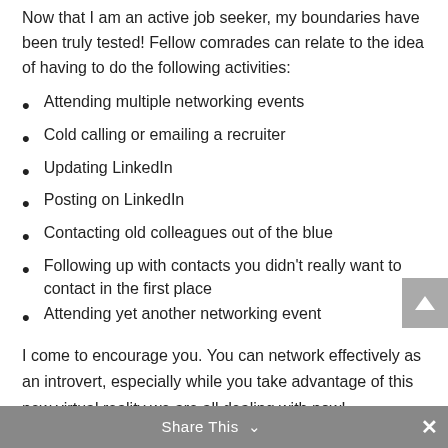Now that I am an active job seeker, my boundaries have been truly tested! Fellow comrades can relate to the idea of having to do the following activities:
Attending multiple networking events
Cold calling or emailing a recruiter
Updating LinkedIn
Posting on LinkedIn
Contacting old colleagues out of the blue
Following up with contacts you didn't really want to contact in the first place
Attending yet another networking event
I come to encourage you. You can network effectively as an introvert, especially while you take advantage of this new virtual reality we are all dealing with now!
Share This  ×